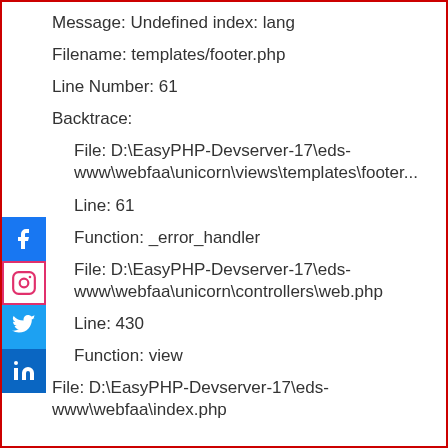Message: Undefined index: lang
Filename: templates/footer.php
Line Number: 61
Backtrace:
File: D:\EasyPHP-Devserver-17\eds-www\webfaa\unicorn\views\templates\footer...
Line: 61
Function: _error_handler
File: D:\EasyPHP-Devserver-17\eds-www\webfaa\unicorn\controllers\web.php
Line: 430
Function: view
File: D:\EasyPHP-Devserver-17\eds-www\webfaa\index.php